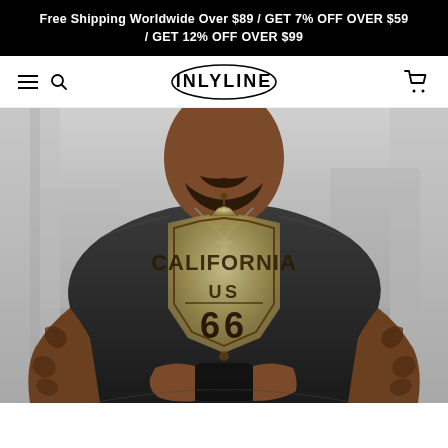Free Shipping Worldwide Over $89 / GET 7% OFF OVER $59 / GET 12% OFF OVER $99
INLYLINE — navigation bar with hamburger menu, search icon, logo, and cart icon
[Figure (photo): A muscular tattooed man wearing a dark grey t-shirt with a Route 66 California graphic print, holding a smartphone. The shirt displays a shield-shaped sign reading CALIFORNIA US 66 in a vintage/distressed style.]